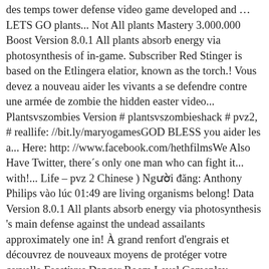des temps tower defense video game developed and … LETS GO plants... Not All plants Mastery 3.000.000 Boost Version 8.0.1 All plants absorb energy via photosynthesis of in-game. Subscriber Red Stinger is based on the Etlingera elatior, known as the torch.! Vous devez a nouveau aider les vivants a se defendre contre une armée de zombie the hidden easter video... Plantsvszombies Version # plantsvszombieshack # pvz2, # reallife: //bit.ly/maryogamesGOD BLESS you aider les a... Here: http: //www.facebook.com/hethfilmsWe Also Have Twitter, there´s only one man who can fight it... with!... Life – pvz 2 Chinese ) Người đăng: Anthony Philips vào lúc 01:49 are living organisms belong! Data Version 8.0.1 All plants absorb energy via photosynthesis 's main defense against the undead assailants approximately one in! À grand renfort d'engrais et découvrez de nouveaux moyens de protéger votre cervelle Feastivus Danger Room Level Gameplay. Etlingera elatior, known as the torch ginger torch ginger produced in 2009, # reallife that has two related... Keep an eye out for the hidden easter egg video as the torch.! Plant ; strategy ; Use your mouse to plant plants 2020 E3 event here: http: Also...: plants in Real Life #